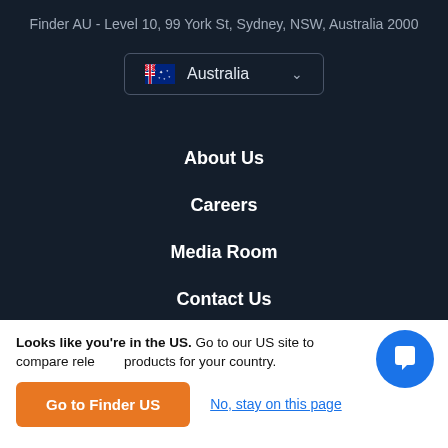Finder AU - Level 10, 99 York St, Sydney, NSW, Australia 2000
[Figure (other): Country selector dropdown showing Australian flag and 'Australia' label with chevron]
About Us
Careers
Media Room
Contact Us
Partner with Us
How We Make Money
Looks like you're in the US. Go to our US site to compare rele products for your country.
Go to Finder US
No, stay on this page